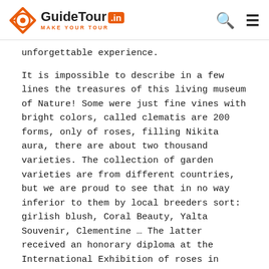GuideTour.in — MAKE YOUR TOUR
unforgettable experience.
It is impossible to describe in a few lines the treasures of this living museum of Nature! Some were just fine vines with bright colors, called clematis are 200 forms, only of roses, filling Nikita aura, there are about two thousand varieties. The collection of garden varieties are from different countries, but we are proud to see that in no way inferior to them by local breeders sort: girlish blush, Coral Beauty, Yalta Souvenir, Clementine … The latter received an honorary diploma at the International Exhibition of roses in Rome.
On a small tour itinerary, you can see plants from all over the world and create by a talented landscape architect.